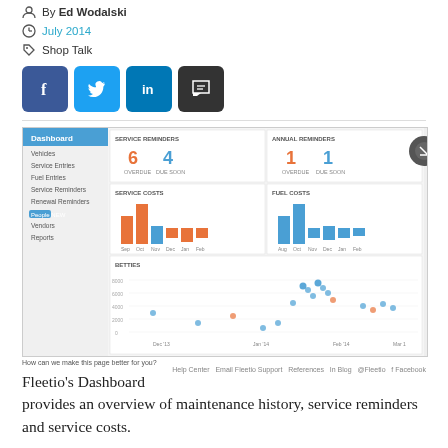By Ed Wodalski
July 2014
Shop Talk
[Figure (screenshot): Social share buttons: Facebook (blue), Twitter (light blue), LinkedIn (dark blue), Comment (dark gray)]
[Figure (screenshot): Fleetio dashboard screenshot showing service reminders, annual reminders, service costs bar chart, fuel costs bar chart, a scatter/timeline chart, and a recent vehicles list panel on the right.]
How can we make this page better for you?
Fleetio's Dashboard provides an overview of maintenance history, service reminders and service costs.